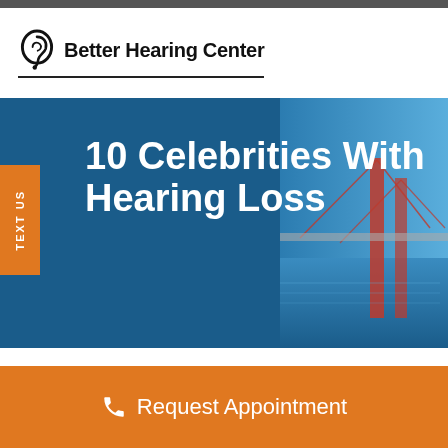[Figure (logo): Better Hearing Center logo with ear icon and underline]
10 Celebrities With Hearing Loss
[Figure (illustration): Orange vertical side tab with TEXT US label rotated]
[Figure (photo): Blue banner with bridge/city photo on right side and title overlay]
Request Appointment